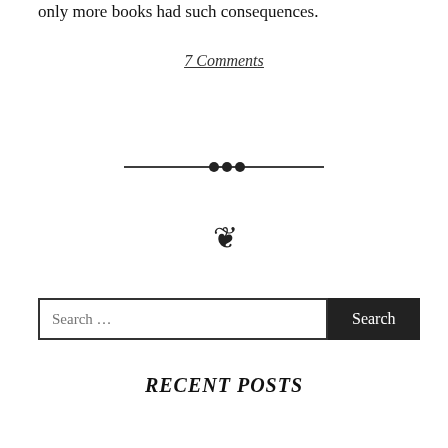only more books had such consequences.
7 Comments
[Figure (illustration): Decorative horizontal divider with lines and dots in the center]
[Figure (illustration): Decorative swirl/scroll divider ornament]
Search ...
RECENT POSTS